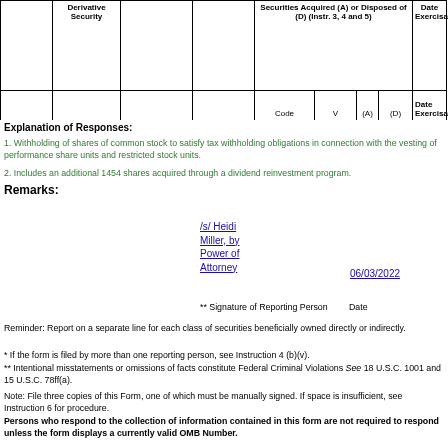|  | Derivative Security |  |  | Securities Acquired (A) or Disposed of (D) (Instr. 3, 4 and 5) |  |  |  | Date Exercisab |
| --- | --- | --- | --- | --- | --- | --- | --- | --- |
|  |  |  |  |  |  |  |  |  |
|  |  |  |  | Code | V | (A) | (D) | Date Exercisab |
Explanation of Responses:
1. Withholding of shares of common stock to satisfy tax withholding obligations in connection with the vesting of performance share units and restricted stock units.
2. Includes an additional 1454 shares acquired through a dividend reinvestment program.
Remarks:
/s/ Heidi Miller, by Power of Attorney
06/03/2022
** Signature of Reporting Person    Date
Reminder: Report on a separate line for each class of securities beneficially owned directly or indirectly.
* If the form is filed by more than one reporting person, see Instruction 4 (b)(v).
** Intentional misstatements or omissions of facts constitute Federal Criminal Violations See 18 U.S.C. 1001 and 15 U.S.C. 78ff(a).
Note: File three copies of this Form, one of which must be manually signed. If space is insufficient, see Instruction 6 for procedure.
Persons who respond to the collection of information contained in this form are not required to respond unless the form displays a currently valid OMB Number.